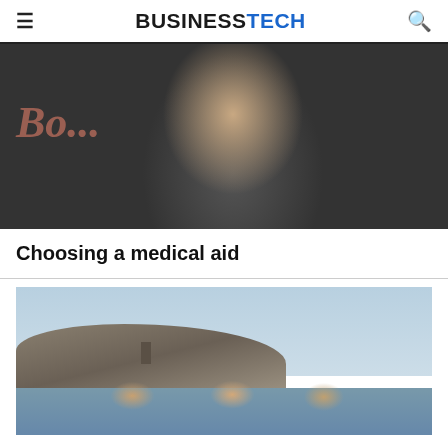BUSINESSTECH
[Figure (photo): A smiling middle-aged businessman with grey hair in a dark blazer, with a cursive coral-colored logo text partially visible in the background]
Choosing a medical aid
[Figure (photo): A coastal landscape with rocky cliffs, blue sky, and water, with a group of people in the foreground]